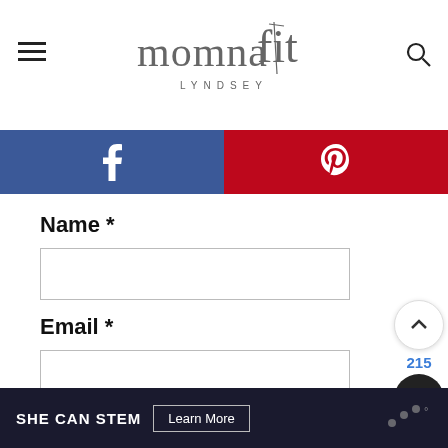momna fit LYNDSEY
[Figure (screenshot): Social share bar with Facebook (blue) and Pinterest (red) icons]
Name *
Email *
POST COMMENT
SHE CAN STEM  Learn More